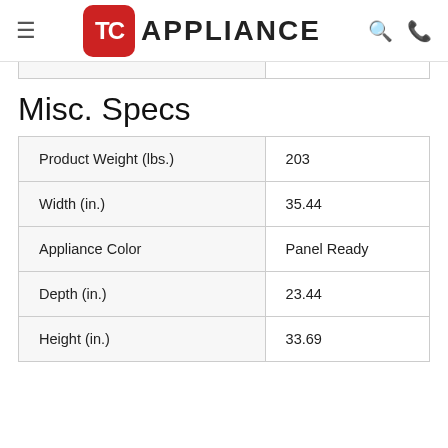TC APPLIANCE
Misc. Specs
|  |  |
| --- | --- |
| Product Weight (lbs.) | 203 |
| Width (in.) | 35.44 |
| Appliance Color | Panel Ready |
| Depth (in.) | 23.44 |
| Height (in.) | 33.69 |